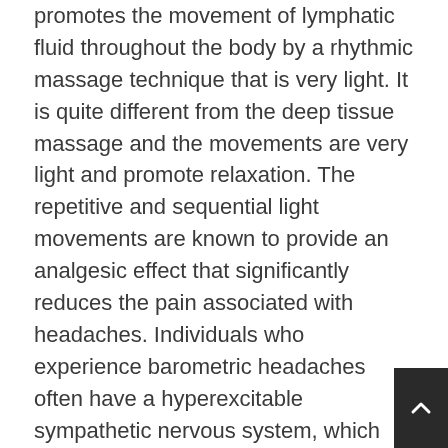promotes the movement of lymphatic fluid throughout the body by a rhythmic massage technique that is very light. It is quite different from the deep tissue massage and the movements are very light and promote relaxation. The repetitive and sequential light movements are known to provide an analgesic effect that significantly reduces the pain associated with headaches. Individuals who experience barometric headaches often have a hyperexcitable sympathetic nervous system, which can lead to pain because of dysfunctional neurotransmitters. Manual lymph drainage can reduce the pain signals being sent to the brain by suppressing the sympathetic nervous system.
The MLD massage is a holistic therapy for giving a tune up to the lymphatic system. The manual stimulation increases the flow of lymphatic fluid, which